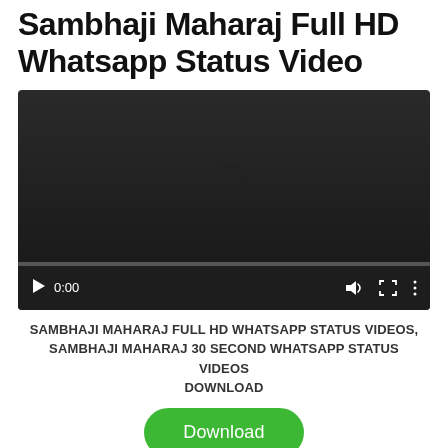Sambhaji Maharaj Full HD Whatsapp Status Video
[Figure (screenshot): Embedded video player showing a loading spinner on a dark background with playback controls at the bottom (play button, 0:00 timestamp, volume, fullscreen, and menu icons), and a progress bar at the bottom.]
SAMBHAJI MAHARAJ FULL HD WHATSAPP STATUS VIDEOS, SAMBHAJI MAHARAJ 30 SECOND WHATSAPP STATUS VIDEOS DOWNLOAD
Download
Sambhaji Maharaj 4K Full